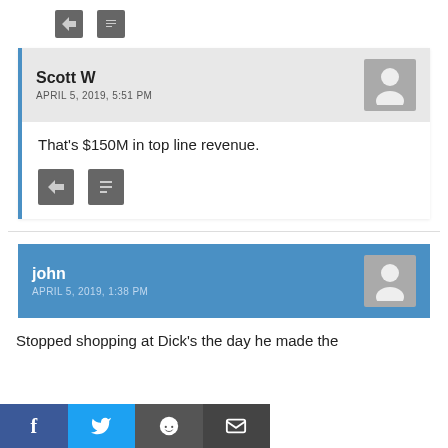[Figure (other): Two small icon buttons (reply and share) at the top of the page]
Scott W
APRIL 5, 2019, 5:51 PM
That's $150M in top line revenue.
[Figure (other): Two small icon buttons (reply and share) inside comment]
john
APRIL 5, 2019, 1:38 PM
Stopped shopping at Dick's the day he made the
[Figure (other): Social share bar: Facebook, Twitter, Reddit, Email buttons]